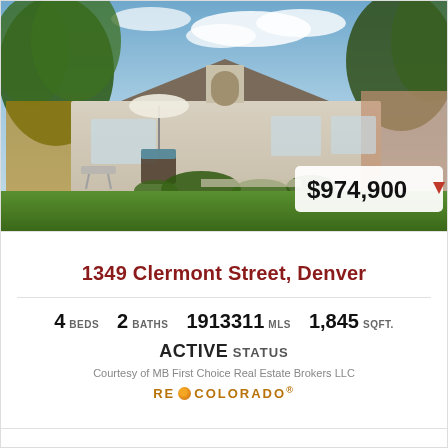[Figure (photo): Exterior photograph of a stone/stucco single-story residential home with arched entryway, American flag, outdoor chair on green lawn, trees surrounding, price badge showing $974,900 with red down arrow]
1349 Clermont Street, Denver
4 BEDS  2 BATHS  1913311 MLS  1,845 SQFT.
ACTIVE STATUS
Courtesy of MB First Choice Real Estate Brokers LLC
RE COLORADO®